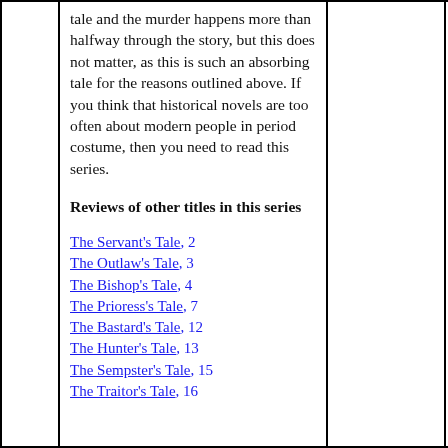tale and the murder happens more than halfway through the story, but this does not matter, as this is such an absorbing tale for the reasons outlined above. If you think that historical novels are too often about modern people in period costume, then you need to read this series.
Reviews of other titles in this series
The Servant's Tale, 2
The Outlaw's Tale, 3
The Bishop's Tale, 4
The Prioress's Tale, 7
The Bastard's Tale, 12
The Hunter's Tale, 13
The Sempster's Tale, 15
The Traitor's Tale, 16